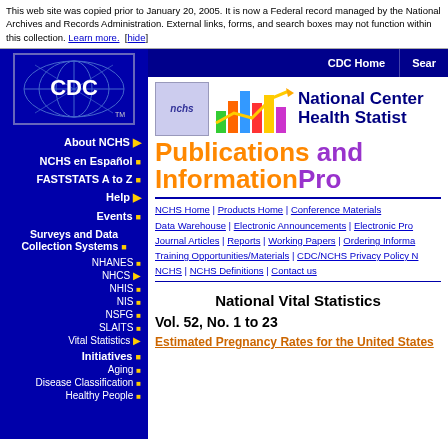This web site was copied prior to January 20, 2005. It is now a Federal record managed by the National Archives and Records Administration. External links, forms, and search boxes may not function within this collection. Learn more. [hide]
[Figure (logo): CDC logo - white CDC letters on blue background with globe/grid design]
About NCHS ▶
NCHS en Español ■
FASTSTATS A to Z ■
Help ▶
Events ■
Surveys and Data Collection Systems ■
NHANES ■
NHCS ▶
NHIS ■
NIS ■
NSFG ■
SLAITS ■
Vital Statistics ▶
Initiatives ■
Aging ■
Disease Classification ■
Healthy People ■
[Figure (logo): NCHS logo with colorful bar chart graphic and text National Center for Health Statistics]
Publications and Information Products
NCHS Home | Products Home | Conference Materials | Data Warehouse | Electronic Announcements | Electronic Products | Journal Articles | Reports | Working Papers | Ordering Information | Training Opportunities/Materials | CDC/NCHS Privacy Policy Notice for NCHS | NCHS Definitions | Contact us
National Vital Statistics Reports
Vol. 52, No. 1 to 23
Estimated Pregnancy Rates for the United States